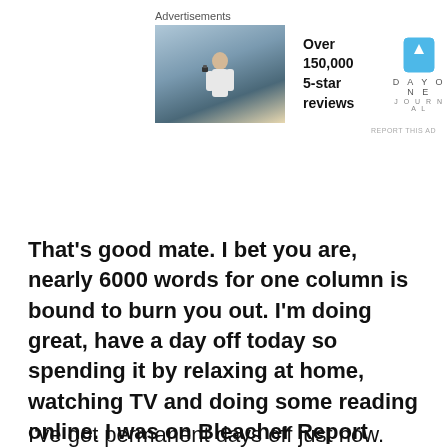[Figure (photo): Advertisement banner featuring a photo of a person photographing a landscape, with text 'Over 150,000 5-star reviews' and the Day One Journal logo.]
That’s good mate. I bet you are, nearly 6000 words for one column is bound to burn you out. I’m doing great, have a day off today so spending it by relaxing at home, watching TV and doing some reading online. I was on Bleacher Report today and came across this column – http://bleacherreport.com/articles/1348274-wwe-why-cm-punk-is-a-weak-champion. It has got to be the most ridiculous column I’ve ever read on B/R. Have a read of it and tell me what you think.
I’ve got permanent days off just now. Believe me, the